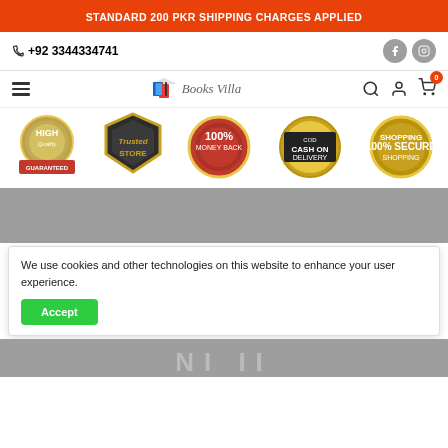STANDARD 200 PKR SHIPPING CHARGES APPLIED
+92 3344334741
[Figure (logo): Books Villa logo with book icon]
[Figure (infographic): Five trust badge icons: HIGH Quality GUARANTEED, Trusted Store, 100% MONEY BACK, COD CASH ON DELIVERY, 100% SECURE SHOPPING]
[Figure (photo): Gray placeholder banner area]
We use cookies and other technologies on this website to enhance your user experience.
Accept
[Figure (photo): Bottom gray banner strip with partial text visible]